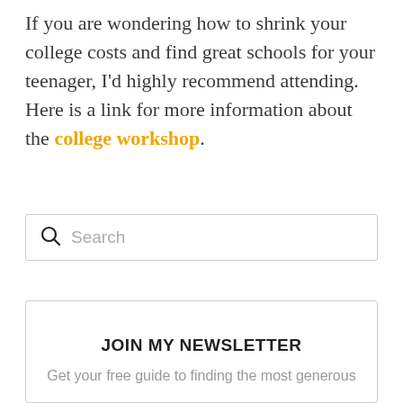If you are wondering how to shrink your college costs and find great schools for your teenager, I'd highly recommend attending. Here is a link for more information about the college workshop.
[Figure (other): Search input box with magnifying glass icon and placeholder text 'Search']
JOIN MY NEWSLETTER
Get your free guide to finding the most generous